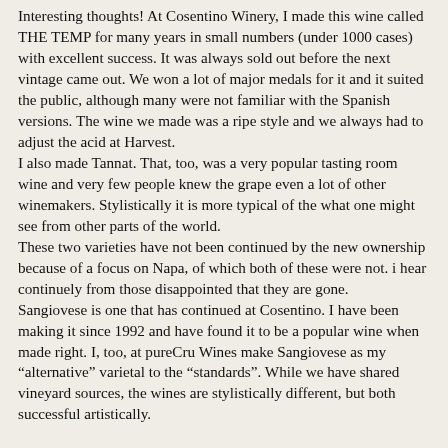Interesting thoughts! At Cosentino Winery, I made this wine called THE TEMP for many years in small numbers (under 1000 cases) with excellent success. It was always sold out before the next vintage came out. We won a lot of major medals for it and it suited the public, although many were not familiar with the Spanish versions. The wine we made was a ripe style and we always had to adjust the acid at Harvest. I also made Tannat. That, too, was a very popular tasting room wine and very few people knew the grape even a lot of other winemakers. Stylistically it is more typical of the what one might see from other parts of the world. These two varieties have not been continued by the new ownership because of a focus on Napa, of which both of these were not. i hear continuely from those disappointed that they are gone. Sangiovese is one that has continued at Cosentino. I have been making it since 1992 and have found it to be a popular wine when made right. I, too, at pureCru Wines make Sangiovese as my “alternative” varietal to the “standards”. While we have shared vineyard sources, the wines are stylistically different, but both successful artistically.